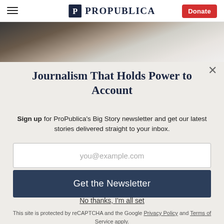ProPublica — Donate
[Figure (photo): A person in a white t-shirt and face mask leaning over a child, photographed from above.]
Journalism That Holds Power to Account
Sign up for ProPublica's Big Story newsletter and get our latest stories delivered straight to your inbox.
you@example.com
Get the Newsletter
No thanks, I'm all set
This site is protected by reCAPTCHA and the Google Privacy Policy and Terms of Service apply.